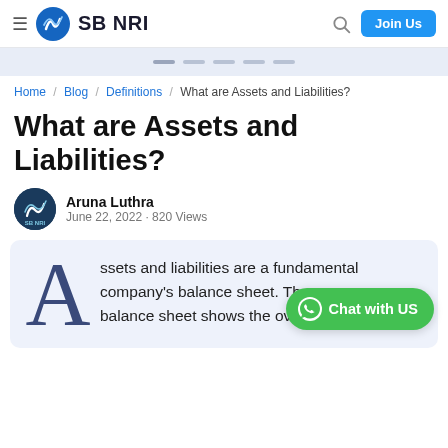SB NRI — Navigation bar with logo, search, and Join Us button
[Figure (other): Slider pagination dots (5 dashes)]
Home / Blog / Definitions / What are Assets and Liabilities?
What are Assets and Liabilities?
Aruna Luthra
June 22, 2022 · 820 Views
Assets and liabilities are a fundamental part of a company's balance sheet. The balance sheet shows the overall